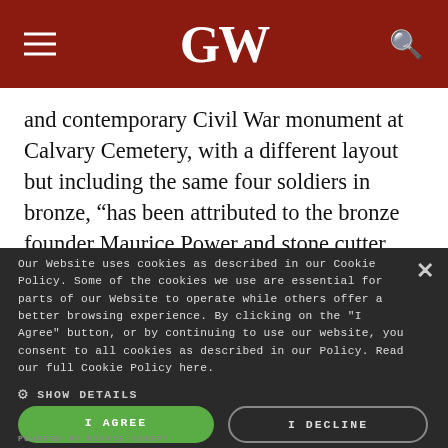GW
and contemporary Civil War monument at Calvary Cemetery, with a different layout but including the same four soldiers in bronze, “has been attributed to the bronze founder Maurice Power and stone cutter Daniel Draddy after a design by James Goodwin Batterson (1823-1901).”
Our Website uses cookies as described in our Cookie Policy. Some of the cookies we use are essential for parts of our Website to operate while others offer a better browsing experience. By clicking on the "I Agree" button, or by continuing to use our website, you consent to all cookies as described in our Policy. Read our full Cookie Policy here.
SHOW DETAILS
I AGREE
I DECLINE
POWERED BY COOKIE-SCRIPT